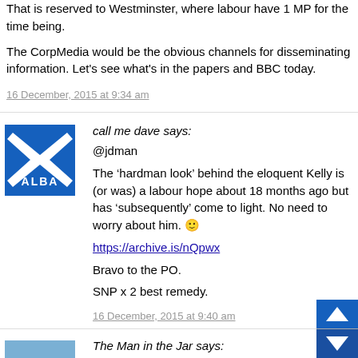That is reserved to Westminster, where labour have 1 MP for the time being.
The CorpMedia would be the obvious channels for disseminating information. Let's see what's in the papers and BBC today.
16 December, 2015 at 9:34 am
call me dave says:
@jdman
The 'hardman look' behind the eloquent Kelly is (or was) a labour hope about 18 months ago but has 'subsequently' come to light. No need to worry about him. 🙂
https://archive.is/nQpwx
Bravo to the PO.
SNP x 2 best remedy.
16 December, 2015 at 9:40 am
The Man in the Jar says:
I just took a keek at Kellys Wikipedia entry. If you take a swatch at his photo at the top of his entry.